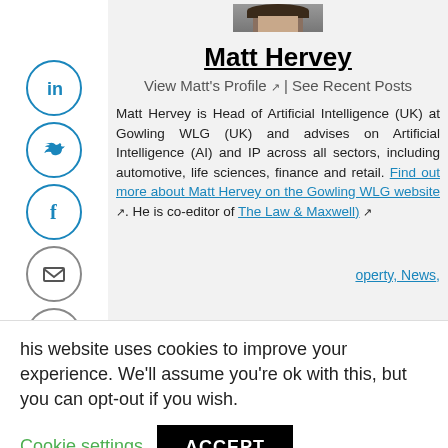[Figure (photo): Partial profile photo of Matt Hervey at top of page]
Matt Hervey
View Matt's Profile ↗ | See Recent Posts
Matt Hervey is Head of Artificial Intelligence (UK) at Gowling WLG (UK) and advises on Artificial Intelligence (AI) and IP across all sectors, including automotive, life sciences, finance and retail. Find out more about Matt Hervey on the Gowling WLG website. He is co-editor of The Law & Maxwell)
[Figure (infographic): Social sharing sidebar icons: LinkedIn, Twitter, Facebook, Email, Print, Back arrow]
This website uses cookies to improve your experience. We'll assume you're ok with this, but you can opt-out if you wish. Cookie settings ACCEPT
Tagged With: Intellectual Property, News,
Tagged With: Intellectual Property